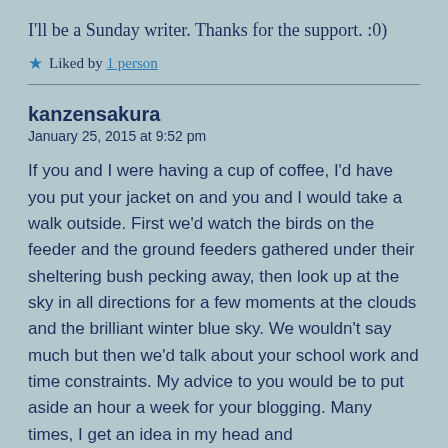I'll be a Sunday writer. Thanks for the support. :0)
★ Liked by 1 person
kanzensakura
January 25, 2015 at 9:52 pm
If you and I were having a cup of coffee, I'd have you put your jacket on and you and I would take a walk outside. First we'd watch the birds on the feeder and the ground feeders gathered under their sheltering bush pecking away, then look up at the sky in all directions for a few moments at the clouds and the brilliant winter blue sky. We wouldn't say much but then we'd talk about your school work and time constraints. My advice to you would be to put aside an hour a week for your blogging. Many times, I get an idea in my head and